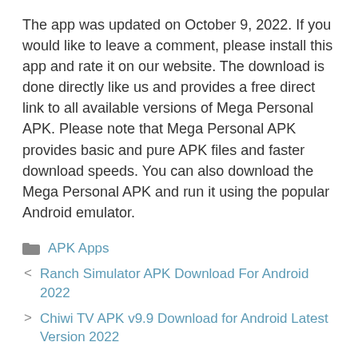The app was updated on October 9, 2022. If you would like to leave a comment, please install this app and rate it on our website. The download is done directly like us and provides a free direct link to all available versions of Mega Personal APK. Please note that Mega Personal APK provides basic and pure APK files and faster download speeds. You can also download the Mega Personal APK and run it using the popular Android emulator.
APK Apps
Ranch Simulator APK Download For Android 2022
Chiwi TV APK v9.9 Download for Android Latest Version 2022